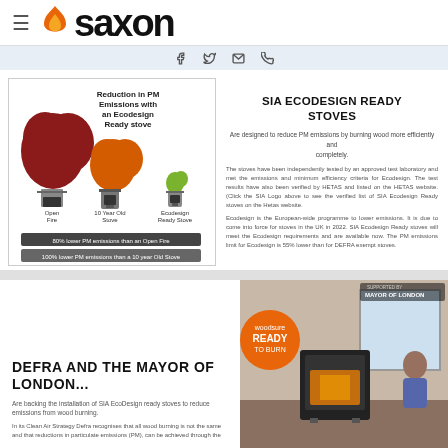saxon
[Figure (infographic): Reduction in PM Emissions with an Ecodesign Ready stove - comparison of Open Fire, 10 Year Old Stove, and Ecodesign Ready Stove smoke clouds with legend bars showing 80% lower PM and 100% lower PM emissions]
SIA ECODESIGN READY STOVES
Are designed to reduce PM emissions by burning wood more efficiently and completely.
The stoves have been independently tested by an approved test laboratory and met the emissions and minimum efficiency criteria for Ecodesign. The test results have also been verified by HETAS and listed on the HETAS website. (Click the SIA Logo above to see the verified list of SIA Ecodesign Ready stoves on the Hetas website.
Ecodesign is the European-wide programme to lower emissions. It is due to come into force for stoves in the UK in 2022. SIA Ecodesign Ready stoves will meet the Ecodesign requirements and are available now. The PM emissions limit for Ecodesign is 55% lower than for DEFRA exempt stoves.
DEFRA AND THE MAYOR OF LONDON...
Are backing the installation of SIA EcoDesign ready stoves to reduce emissions from wood burning.
In its Clean Air Strategy Defra recognises that all wood burning is not the same and that reductions in particulate emissions (PM), can be achieved through the
[Figure (photo): Woodsure Ready to Burn logo with Mayor of London supported by badge, showing a modern wood-burning stove in a living room with a woman reading]